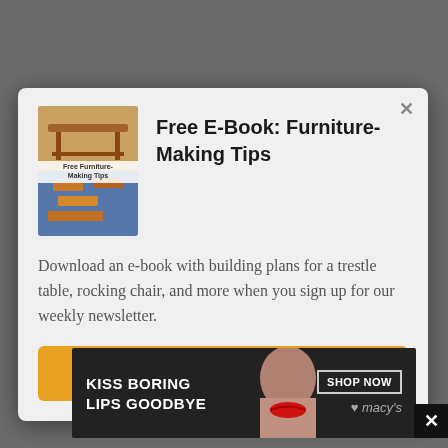Free E-Book: Furniture-Making Tips
Download an e-book with building plans for a trestle table, rocking chair, and more when you sign up for our weekly newsletter.
Get Your Free Download!
[Figure (infographic): Advertisement banner: KISS BORING LIPS GOODBYE with woman's face and SHOP NOW / macy's branding]